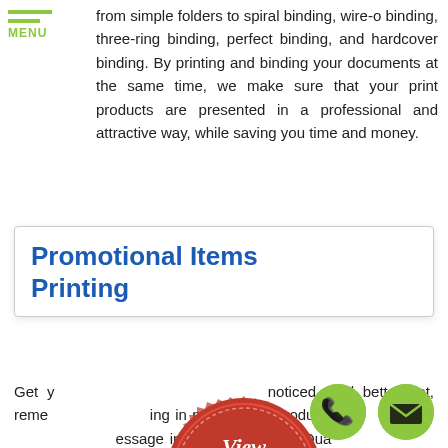MENU
from simple folders to spiral binding, wire-o binding, three-ring binding, perfect binding, and hardcover binding. By printing and binding your documents at the same time, we make sure that your print products are presented in a professional and attractive way, while saving you time and money.
Promotional Items Printing
Get your message noticed, and better yet, remembered, by investing in promotional products with your logo and message imprinted on them. Quality promotional items have proven to be effective marketing tools by combining your name and message with useful items they see and appreciate every day.
[Figure (illustration): Red wax seal stamp with 'View Sign Gallery CLICK HERE' text with gold ribbon banner]
[Figure (illustration): Green circular phone button with handset icon]
[Figure (illustration): Green circular email button with envelope icon]